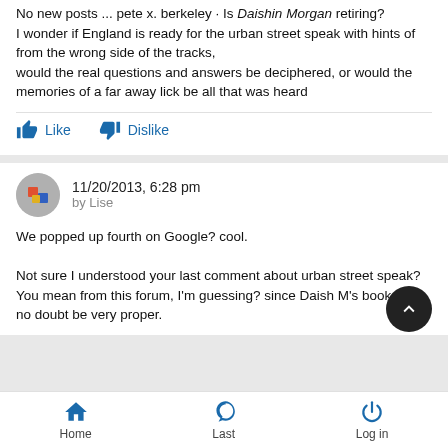No new posts ... pete x. berkeley · Is Daishin Morgan retiring? I wonder if England is ready for the urban street speak with hints of from the wrong side of the tracks, would the real questions and answers be deciphered, or would the memories of a far away lick be all that was heard
Like  Dislike
11/20/2013, 6:28 pm by Lise
We popped up fourth on Google? cool.

Not sure I understood your last comment about urban street speak?  You mean from this forum, I'm guessing? since Daish M's book will no doubt be very proper.
Home  Last  Log in